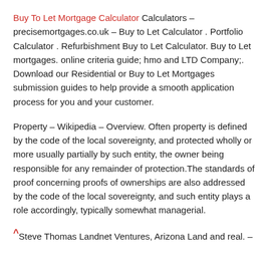Buy To Let Mortgage Calculator Calculators – precisemortgages.co.uk – Buy to Let Calculator . Portfolio Calculator . Refurbishment Buy to Let Calculator. Buy to Let mortgages. online criteria guide; hmo and LTD Company;. Download our Residential or Buy to Let Mortgages submission guides to help provide a smooth application process for you and your customer.
Property – Wikipedia – Overview. Often property is defined by the code of the local sovereignty, and protected wholly or more usually partially by such entity, the owner being responsible for any remainder of protection.The standards of proof concerning proofs of ownerships are also addressed by the code of the local sovereignty, and such entity plays a role accordingly, typically somewhat managerial.
^ Steve Thomas Landnet Ventures, Arizona Land and real. –